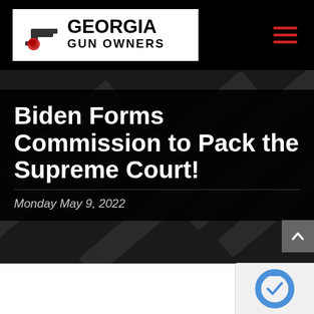[Figure (logo): Georgia Gun Owners logo with handgun icon, white background, bold black text]
Biden Forms Commission to Pack the Supreme Court!
Monday May 9, 2022
[Figure (illustration): reCAPTCHA widget icon bottom right corner]